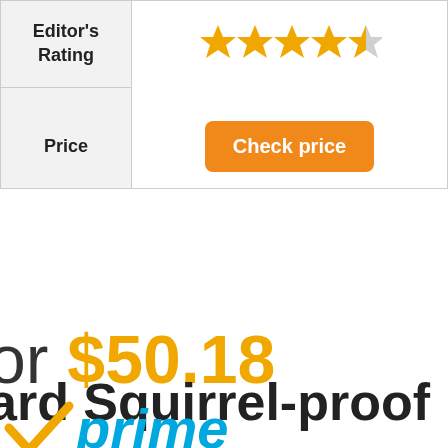|  |  |
| --- | --- |
| Editor's Rating | 4.5 stars |
| Price | Check price |
or $50.18
ard Squirrel-proof
[Figure (logo): Amazon Prime logo with orange checkmark and 'prime' in blue italic text]